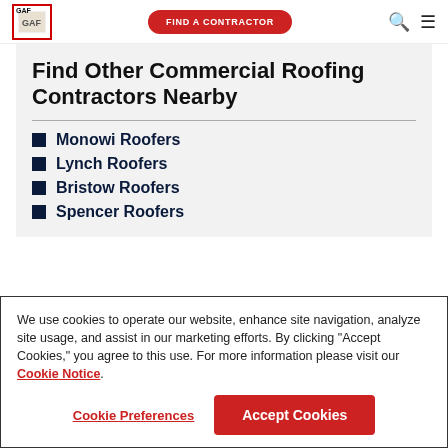GAF | FIND A CONTRACTOR
Find Other Commercial Roofing Contractors Nearby
Monowi Roofers
Lynch Roofers
Bristow Roofers
Spencer Roofers
We use cookies to operate our website, enhance site navigation, analyze site usage, and assist in our marketing efforts. By clicking "Accept Cookies," you agree to this use. For more information please visit our Cookie Notice.